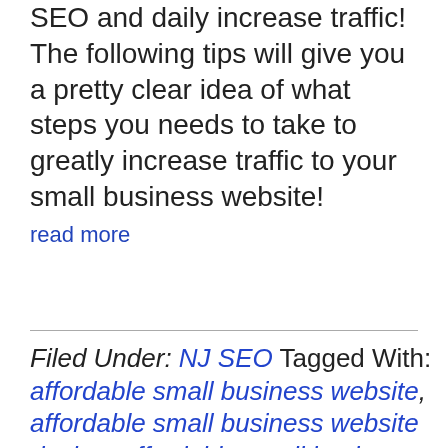SEO and daily increase traffic!  The following tips will give you a pretty clear idea of what steps you needs to take to greatly increase traffic to your small business website!
read more
Filed Under: NJ SEO Tagged With: affordable small business website, affordable small business website design, affordable small business websites, best small business website design, business websites, company seo, design small business website, local small business seo, marketing a small business, search engine marketing for small business, search engine optimization for small business, search engine optimization for small businesses, search engine promotion company, seo business, seo